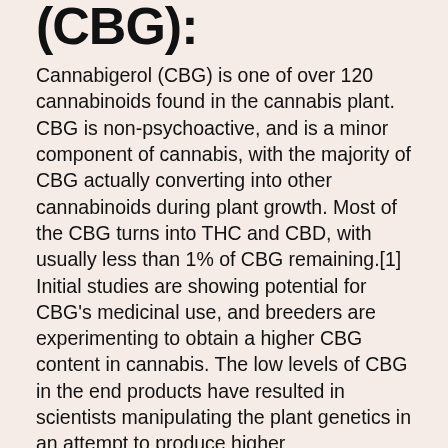(CBG):
Cannabigerol (CBG) is one of over 120 cannabinoids found in the cannabis plant. CBG is non-psychoactive, and is a minor component of cannabis, with the majority of CBG actually converting into other cannabinoids during plant growth. Most of the CBG turns into THC and CBD, with usually less than 1% of CBG remaining.[1] Initial studies are showing potential for CBG's medicinal use, and breeders are experimenting to obtain a higher CBG content in cannabis. The low levels of CBG in the end products have resulted in scientists manipulating the plant genetics in an attempt to produce higher concentrations of CBG. A Dutch company called Bedrocan BV Medicinal Cannabis has been producing a CBG specific strain called Bediol since 2007 for its anti-inflammatory effects.